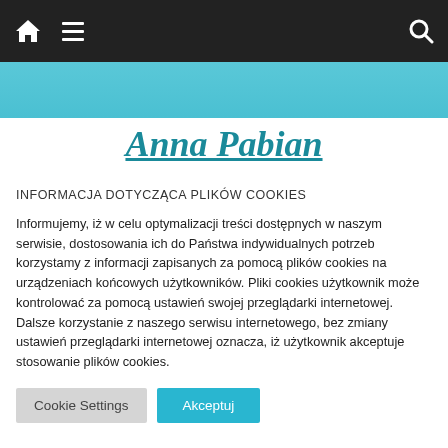Navigation bar with home icon, hamburger menu, and search icon
Anna Pabian
INFORMACJA DOTYCZĄCA PLIKÓW COOKIES
Informujemy, iż w celu optymalizacji treści dostępnych w naszym serwisie, dostosowania ich do Państwa indywidualnych potrzeb korzystamy z informacji zapisanych za pomocą plików cookies na urządzeniach końcowych użytkowników. Pliki cookies użytkownik może kontrolować za pomocą ustawień swojej przeglądarki internetowej. Dalsze korzystanie z naszego serwisu internetowego, bez zmiany ustawień przeglądarki internetowej oznacza, iż użytkownik akceptuje stosowanie plików cookies.
Cookie Settings | Akceptuj